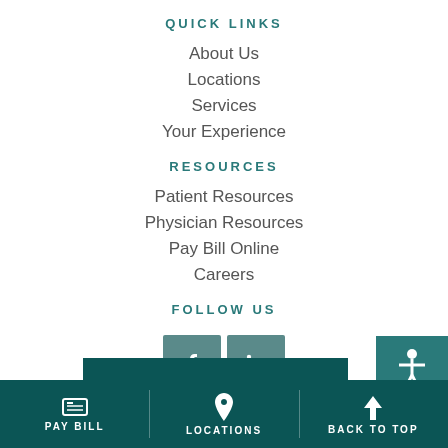QUICK LINKS
About Us
Locations
Services
Your Experience
RESOURCES
Patient Resources
Physician Resources
Pay Bill Online
Careers
FOLLOW US
[Figure (other): Facebook and LinkedIn social media icon buttons]
CONTACT US
PAY BILL | LOCATIONS | BACK TO TOP